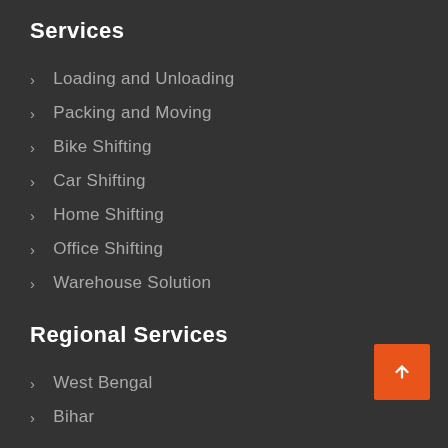Services
Loading and Unloading
Packing and Moving
Bike Shifting
Car Shifting
Home Shifting
Office Shifting
Warehouse Solution
Regional Services
West Bengal
Bihar